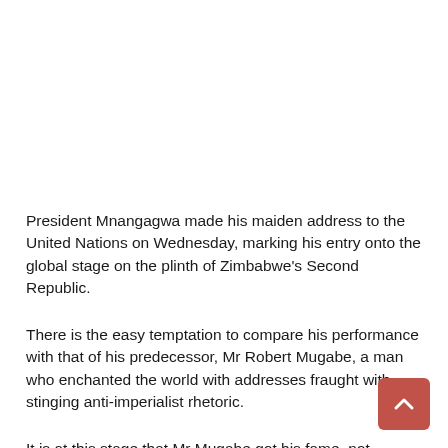President Mnangagwa made his maiden address to the United Nations on Wednesday, marking his entry onto the global stage on the plinth of Zimbabwe's Second Republic.
There is the easy temptation to compare his performance with that of his predecessor, Mr Robert Mugabe, a man who enchanted the world with addresses fraught with stinging anti-imperialist rhetoric.
It is at this stage that Mr Mugabe got his fame, not undeservingly, across the world as a champion of the poor and oppressed peoples of the South.